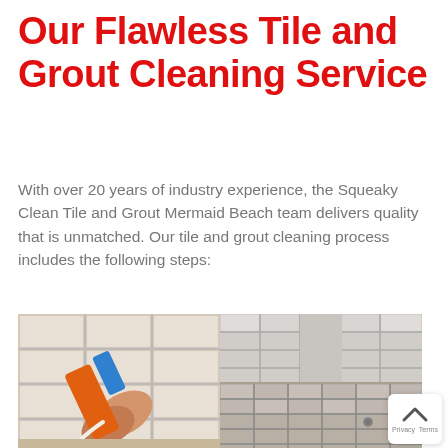Our Flawless Tile and Grout Cleaning Service
With over 20 years of industry experience, the Squeaky Clean Tile and Grout Mermaid Beach team delivers quality that is unmatched. Our tile and grout cleaning process includes the following steps:
[Figure (photo): Two side-by-side photos: left shows a hand holding an orange and blue caulking/grouting tool applying sealant to white wall tiles; right shows a clean tiled bathroom floor and walls with gray grout lines.]